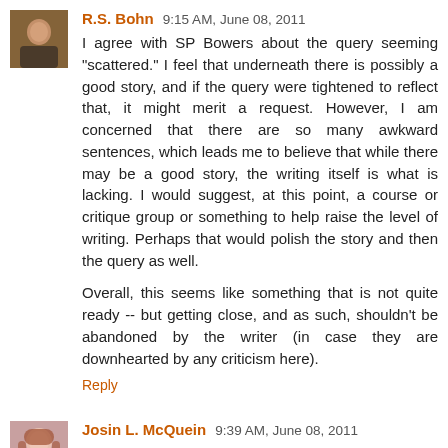[Figure (photo): Avatar photo of R.S. Bohn, a person with dark clothing in a warm-toned setting]
R.S. Bohn 9:15 AM, June 08, 2011
I agree with SP Bowers about the query seeming "scattered." I feel that underneath there is possibly a good story, and if the query were tightened to reflect that, it might merit a request. However, I am concerned that there are so many awkward sentences, which leads me to believe that while there may be a good story, the writing itself is what is lacking. I would suggest, at this point, a course or critique group or something to help raise the level of writing. Perhaps that would polish the story and then the query as well.
Overall, this seems like something that is not quite ready -- but getting close, and as such, shouldn't be abandoned by the writer (in case they are downhearted by any criticism here).
Reply
[Figure (photo): Avatar photo of Josin L. McQuein, a woman with red/auburn hair]
Josin L. McQuein 9:39 AM, June 08, 2011
I'm going to take a wild, assumptive guess and say it